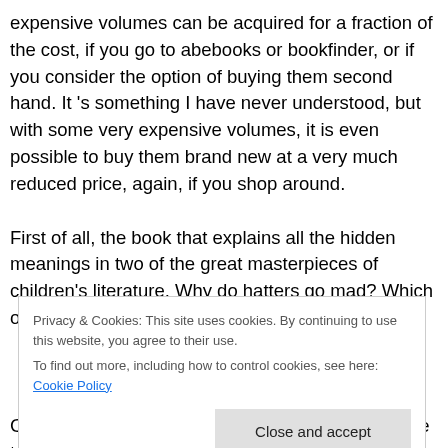expensive volumes can be acquired for a fraction of the cost, if you go to abebooks or bookfinder, or if you consider the option of buying them second hand. It 's something I have never understood, but with some very expensive volumes, it is even possible to buy them brand new at a very much reduced price, again, if you shop around.

First of all, the book that explains all the hidden meanings in two of the great masterpieces of children's literature. Why do hatters go mad? Which one of their pets did
Privacy & Cookies: This site uses cookies. By continuing to use this website, you agree to their use.
To find out more, including how to control cookies, see here: Cookie Policy
Close and accept
Carroll and Martin Gardner. An indispensable guide to two